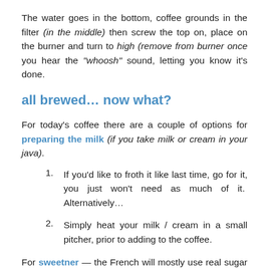The water goes in the bottom, coffee grounds in the filter (in the middle) then screw the top on, place on the burner and turn to high (remove from burner once you hear the "whoosh" sound, letting you know it's done.
all brewed… now what?
For today's coffee there are a couple of options for preparing the milk (if you take milk or cream in your java).
If you'd like to froth it like last time, go for it, you just won't need as much of it.  Alternatively…
Simply heat your milk / cream in a small pitcher, prior to adding to the coffee.
For sweetner — the French will mostly use real sugar (it